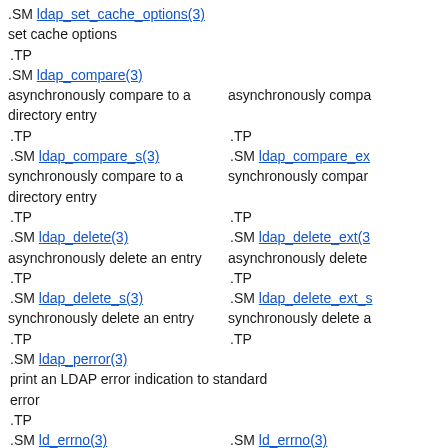.SM ldap_set_cache_options(3)
set cache options
.TP
.SM ldap_compare(3)
asynchronously compare to a directory entry   asynchronously compare
.TP   .TP
.SM ldap_compare_s(3)   .SM ldap_compare_ex
synchronously compare to a directory entry   synchronously compare
.TP   .TP
.SM ldap_delete(3)   .SM ldap_delete_ext(3)
asynchronously delete an entry   asynchronously delete
.TP   .TP
.SM ldap_delete_s(3)   .SM ldap_delete_ext_s
synchronously delete an entry   synchronously delete a
.TP   .TP
.SM ldap_perror(3)
print an LDAP error indication to standard error
.TP
.SM ld_errno(3)   .SM ld_errno(3)
LDAP error indication   LDAP error indication
.TP   .TP
.SM ldap_result2error(3)
extract LDAP error indication from LDAP result
.TP